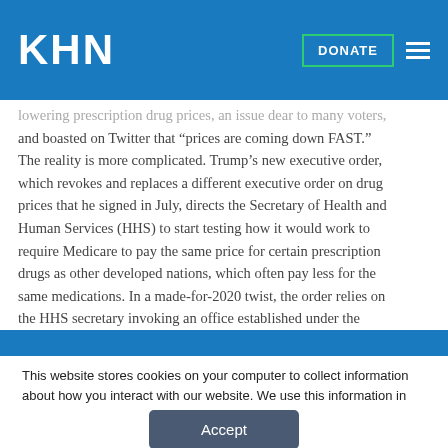KHN | DONATE
lowering prescription drug prices, an issue dear to many voters, and boasted on Twitter that “prices are coming down FAST.” The reality is more complicated. Trump’s new executive order, which revokes and replaces a different executive order on drug prices that he signed in July, directs the Secretary of Health and Human Services (HHS) to start testing how it would work to require Medicare to pay the same price for certain prescription drugs as other developed nations, which often pay less for the same medications. In a made-for-2020 twist, the order relies on the HHS secretary invoking an office established under the Affordable Care Act, the hête noire of the Trump
This website stores cookies on your computer to collect information about how you interact with our website. We use this information in order to improve and customize your browsing experience and for analytics and metrics about our visitors both on this website and other media. To find out more about the cookies we use, see our Privacy Policy.
Accept